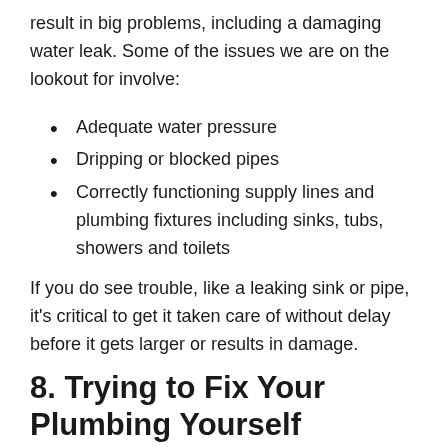result in big problems, including a damaging water leak. Some of the issues we are on the lookout for involve:
Adequate water pressure
Dripping or blocked pipes
Correctly functioning supply lines and plumbing fixtures including sinks, tubs, showers and toilets
If you do see trouble, like a leaking sink or pipe, it's critical to get it taken care of without delay before it gets larger or results in damage.
8. Trying to Fix Your Plumbing Yourself